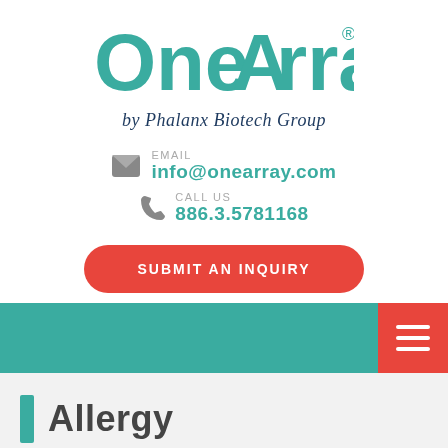[Figure (logo): OneArray logo by Phalanx Biotech Group — teal/green stylized text with registered trademark symbol]
by Phalanx Biotech Group
EMAIL
info@onearray.com
CALL US
886.3.5781168
SUBMIT AN INQUIRY
[Figure (other): Teal navigation bar with red hamburger menu button on the right]
Allergy